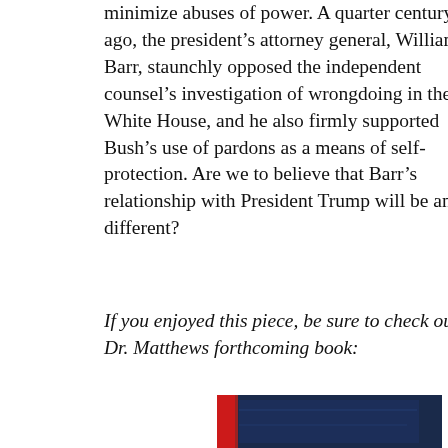minimize abuses of power. A quarter century ago, the president's attorney general, William Barr, staunchly opposed the independent counsel's investigation of wrongdoing in the White House, and he also firmly supported Bush's use of pardons as a means of self-protection. Are we to believe that Barr's relationship with President Trump will be any different?
If you enjoyed this piece, be sure to check out Dr. Matthews forthcoming book:
[Figure (photo): Partial view of a book cover with red and dark blue/navy colors, partially cropped at the bottom of the page.]